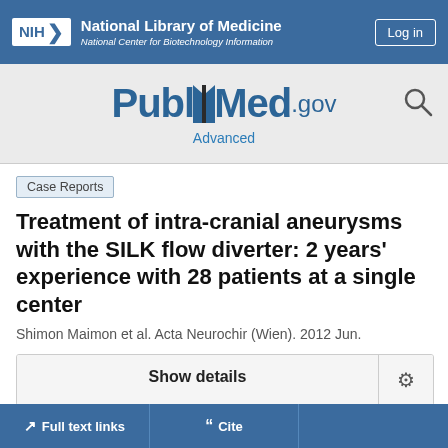National Library of Medicine — National Center for Biotechnology Information
[Figure (logo): PubMed.gov logo with search icon and Advanced link]
Case Reports
Treatment of intra-cranial aneurysms with the SILK flow diverter: 2 years' experience with 28 patients at a single center
Shimon Maimon et al. Acta Neurochir (Wien). 2012 Jun.
Show details
Full text links  Cite